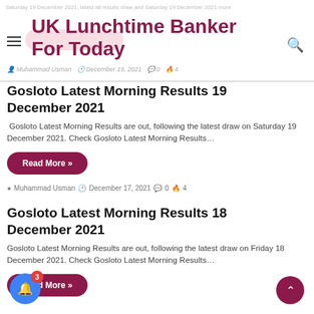UK Lunchtime Banker For Today
Gosloto Latest Morning Results 19 December 2021
Gosloto Latest Morning Results are out, following the latest draw on Saturday 19 December 2021. Check Gosloto Latest Morning Results…
Read More »
Muhammad Usman  December 17, 2021  0  4
Gosloto Latest Morning Results 18 December 2021
Gosloto Latest Morning Results are out, following the latest draw on Friday 18 December 2021. Check Gosloto Latest Morning Results…
Read More »